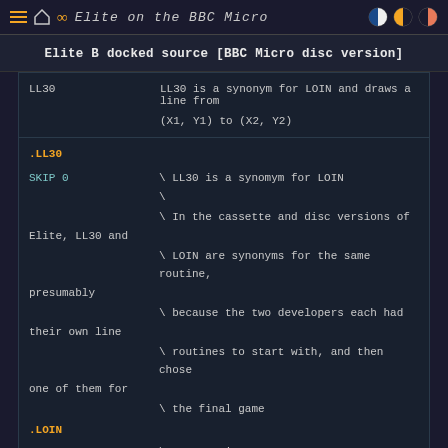Elite on the BBC Micro
Elite B docked source [BBC Micro disc version]
| Label | Description |
| --- | --- |
| LL30 | LL30 is a synonym for LOIN and draws a line from
(X1, Y1) to (X2, Y2) |
.LL30
 SKIP 0  \ LL30 is a synomym for LOIN
          \
          \ In the cassette and disc versions of Elite, LL30 and
          \ LOIN are synonyms for the same routine, presumably
          \ because the two developers each had their own line
          \ routines to start with, and then chose one of them for
          \ the final game
.LOIN
 STY YSAV  \ Store Y into YSAV, so we can preserve it across the
            \ call to this subroutine